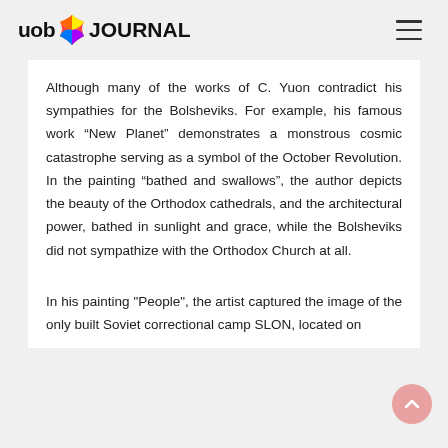uob JOURNAL
Although many of the works of C. Yuon contradict his sympathies for the Bolsheviks. For example, his famous work “New Planet” demonstrates a monstrous cosmic catastrophe serving as a symbol of the October Revolution. In the painting “bathed and swallows”, the author depicts the beauty of the Orthodox cathedrals, and the architectural power, bathed in sunlight and grace, while the Bolsheviks did not sympathize with the Orthodox Church at all.
In his painting "People", the artist captured the image of the only built Soviet correctional camp SLON, located on